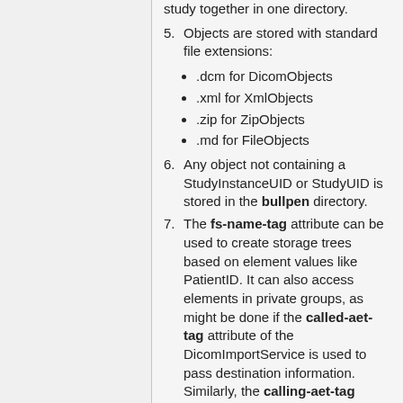study together in one directory.
5. Objects are stored with standard file extensions:
  • .dcm for DicomObjects
  • .xml for XmlObjects
  • .zip for ZipObjects
  • .md for FileObjects
6. Any object not containing a StudyInstanceUID or StudyUID is stored in the bullpen directory.
7. The fs-name-tag attribute can be used to create storage trees based on element values like PatientID. It can also access elements in private groups, as might be done if the called-aet-tag attribute of the DicomImportService is used to pass destination information. Similarly, the calling-aet-tag